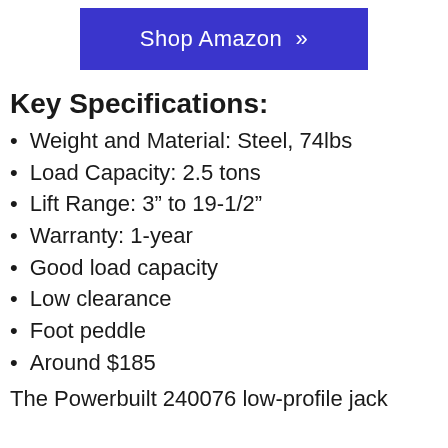[Figure (other): Shop Amazon button — blue rectangle with white text 'Shop Amazon »']
Key Specifications:
Weight and Material: Steel, 74lbs
Load Capacity: 2.5 tons
Lift Range: 3″ to 19-1/2″
Warranty: 1-year
Good load capacity
Low clearance
Foot peddle
Around $185
The Powerbuilt 240076 low-profile jack